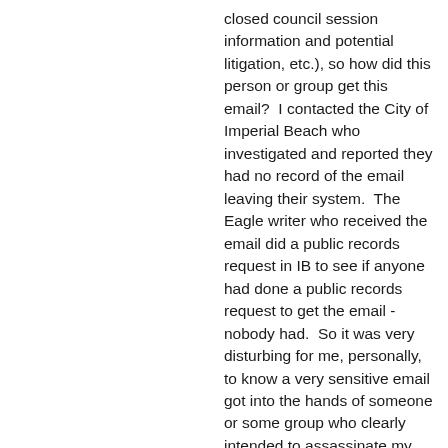closed council session information and potential litigation, etc.), so how did this person or group get this email?  I contacted the City of Imperial Beach who investigated and reported they had no record of the email leaving their system.  The Eagle writer who received the email did a public records request in IB to see if anyone had done a public records request to get the email - nobody had.  So it was very disturbing for me, personally, to know a very sensitive email got into the hands of someone or some group who clearly intended to assassinate my character and credibility in my home town.